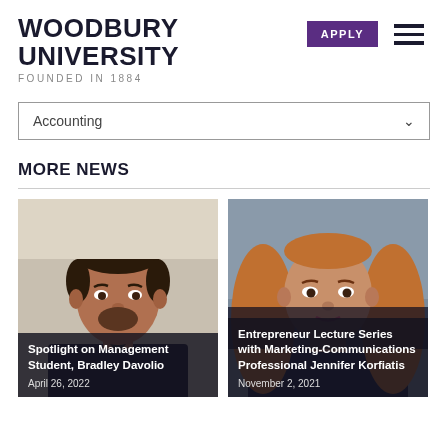WOODBURY UNIVERSITY FOUNDED IN 1884
Accounting
MORE NEWS
[Figure (photo): Headshot of Bradley Davolio, a young man with dark hair wearing a suit, with overlay text 'Spotlight on Management Student, Bradley Davolio' and date 'April 26, 2022']
[Figure (photo): Headshot of Jennifer Korfiatis, a woman with long blonde hair, with overlay text 'Entrepreneur Lecture Series with Marketing-Communications Professional Jennifer Korfiatis' and date 'November 2, 2021']